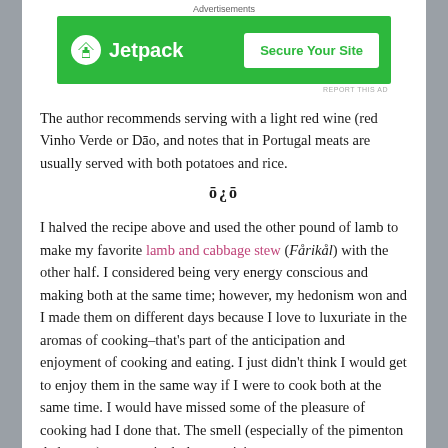Advertisements
[Figure (other): Jetpack advertisement banner with green background showing Jetpack logo and 'Secure Your Site' button]
REPORT THIS AD
The author recommends serving with a light red wine (red Vinho Verde or Dão, and notes that in Portugal meats are usually served with both potatoes and rice.
ō¿ō
I halved the recipe above and used the other pound of lamb to make my favorite lamb and cabbage stew (Fårikål) with the other half. I considered being very energy conscious and making both at the same time; however, my hedonism won and I made them on different days because I love to luxuriate in the aromas of cooking–that's part of the anticipation and enjoyment of cooking and eating. I just didn't think I would get to enjoy them in the same way if I were to cook both at the same time. I would have missed some of the pleasure of cooking had I done that. The smell (especially of the pimenton de la vera) was particularly appetizing.